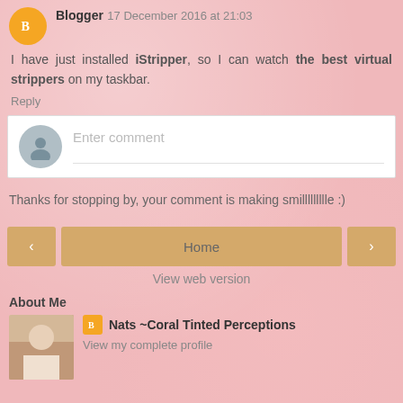Blogger 17 December 2016 at 21:03 — I have just installed iStripper, so I can watch the best virtual strippers on my taskbar. Reply
[Figure (screenshot): Enter comment box with user avatar placeholder]
Thanks for stopping by, your comment is making smillllllllle :)
[Figure (infographic): Navigation buttons: left arrow, Home, right arrow, and View web version link]
About Me
Nats ~Coral Tinted Perceptions — View my complete profile